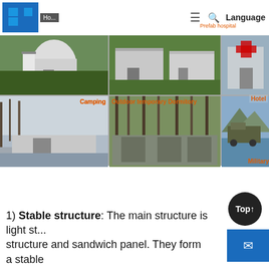[Figure (screenshot): Website navigation bar with logo, home link, hamburger menu, search icon, and Language label with Prefab hospital link]
[Figure (photo): Grid of 6 photos showing prefab building applications: small white prefab house, two prefab homes exterior, hotel interior living area, camping/snowy prefab unit, outdoor temporary dormitory in forest, military prefab unit by water. Labels: Camping, Hotel, Outdoor temporary Dormitory, Military, Prefab hospital]
1) Stable structure: The main structure is light st... structure and sandwich panel. They form a stable